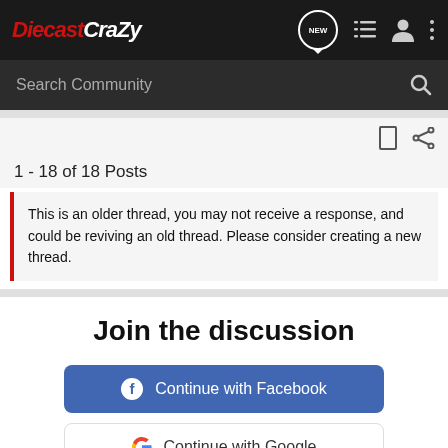DiecastCrazy
Search Community
1 - 18 of 18 Posts
This is an older thread, you may not receive a response, and could be reviving an old thread. Please consider creating a new thread.
Join the discussion
Continue with Facebook
Continue with Google